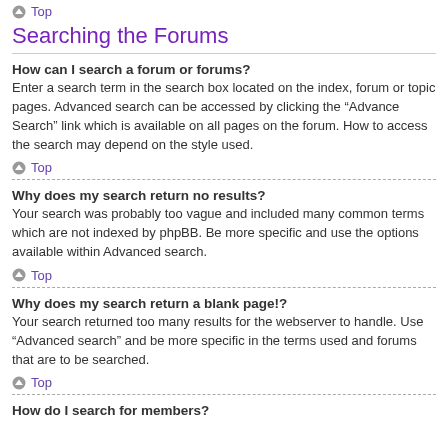Top
Searching the Forums
How can I search a forum or forums?
Enter a search term in the search box located on the index, forum or topic pages. Advanced search can be accessed by clicking the “Advance Search” link which is available on all pages on the forum. How to access the search may depend on the style used.
Top
Why does my search return no results?
Your search was probably too vague and included many common terms which are not indexed by phpBB. Be more specific and use the options available within Advanced search.
Top
Why does my search return a blank page!?
Your search returned too many results for the webserver to handle. Use “Advanced search” and be more specific in the terms used and forums that are to be searched.
Top
How do I search for members?